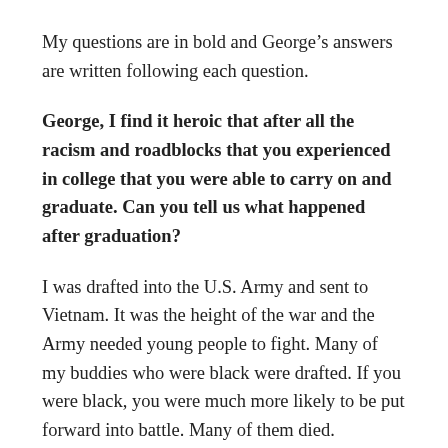My questions are in bold and George's answers are written following each question.
George, I find it heroic that after all the racism and roadblocks that you experienced in college that you were able to carry on and graduate. Can you tell us what happened after graduation?
I was drafted into the U.S. Army and sent to Vietnam. It was the height of the war and the Army needed young people to fight. Many of my buddies who were black were drafted. If you were black, you were much more likely to be put forward into battle. Many of them died.
According to Executive Order 9981, the US armed